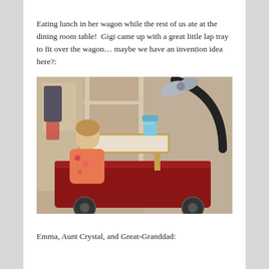Eating lunch in her wagon while the rest of us ate at the dining room table!  Gigi came up with a great little lap tray to fit over the wagon… maybe we have an invention idea here?:
[Figure (photo): A toddler girl sitting inside a red toy wagon with a wooden lap tray fitted over the wagon sides. A sippy cup sits on the tray. The scene is indoors against a beige wall with white paneling. A curved handle with a silver bow is visible at the top right.]
Emma, Aunt Crystal, and Great-Granddad: